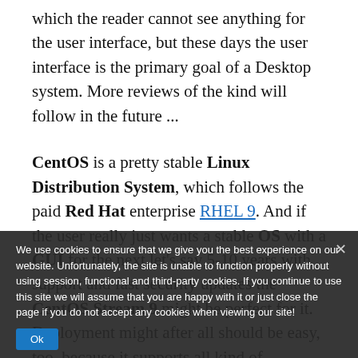which the reader cannot see anything for the user interface, but these days the user interface is the primary goal of a Desktop system. More reviews of the kind will follow in the future ...
CentOS is a pretty stable Linux Distribution System, which follows the paid Red Hat enterprise RHEL 9. And if the user really just wants a stable OS with a GUI for the next let's say 5-10 years with support and fast security updates the CentOS Stream 9 might be perfect for it. Deployment might after all should be easy, too, because it supports all kind of virtualization and despite it may not include the bleeding edge libraries and software, it is easy enough to install latest software in a full or para virtualization or a container!
We use cookies to ensure that we give you the best experience on our website. Unfortunately, the site is unable to function properly without using session, functional and third-party cookies. If you continue to use this site we will assume that you are happy with it or just close the page if you do not accept any cookies when viewing our site!